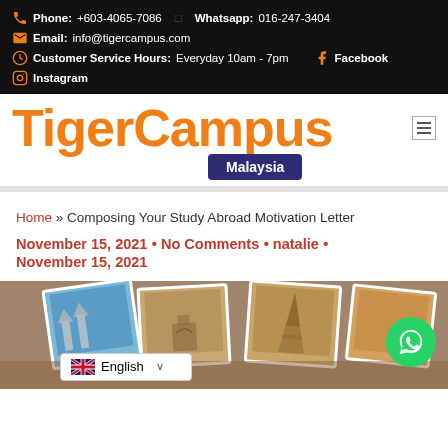Phone: +603-4065-7086  Whatsapp: 016-247-3404  Email: info@tigercampus.com  Customer Service Hours: Everyday 10am - 7pm  Facebook  Instagram
TigerCampus Malaysia
Home » Composing Your Study Abroad Motivation Letter
November 15, 2021 • No Comments • natalie • November 15, 2021
[Figure (photo): Photo collage of travel postcards featuring European landmarks including a cathedral, Arc de Triomphe, Eiffel Tower, and other tourist spots on a wooden background. WhatsApp contact button (green circle) overlaid on right side. English language selector at bottom left.]